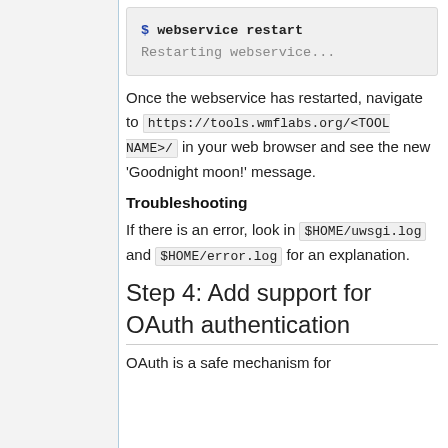[Figure (screenshot): Code block showing terminal command: $ webservice restart and output: Restarting webservice...]
Once the webservice has restarted, navigate to https://tools.wmflabs.org/<TOOL NAME>/ in your web browser and see the new 'Goodnight moon!' message.
Troubleshooting
If there is an error, look in $HOME/uwsgi.log and $HOME/error.log for an explanation.
Step 4: Add support for OAuth authentication
OAuth is a safe mechanism for